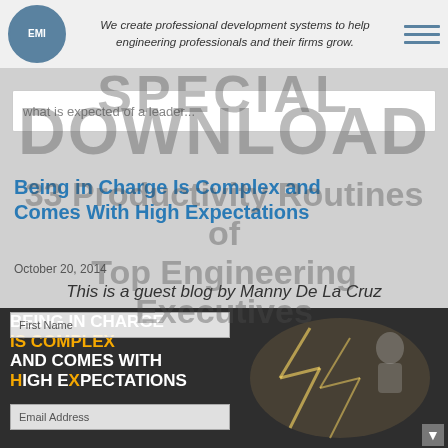We create professional development systems to help engineering professionals and their firms grow.
SPECIAL DOWNLOAD
what is expected of a leader...
33 Productivity Routines of Top Engineering Executives
Being in Charge Is Complex and Comes With High Expectations
October 20, 2014
This is a guest blog by Manny De La Cruz
[Figure (photo): Book cover showing 'Being in Charge Is Complex And Comes With High Expectations' with a person running with lightning bolts, dark background. Form fields for First Name, Email Address, and Your engineering field overlaid on the left side.]